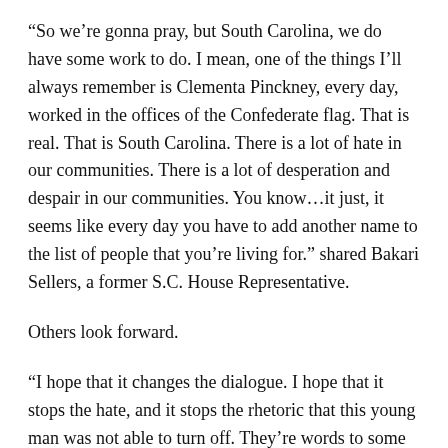“So we’re gonna pray, but South Carolina, we do have some work to do. I mean, one of the things I’ll always remember is Clementa Pinckney, every day, worked in the offices of the Confederate flag. That is real. That is South Carolina. There is a lot of hate in our communities. There is a lot of desperation and despair in our communities. You know…it just, it seems like every day you have to add another name to the list of people that you’re living for.” shared Bakari Sellers, a former S.C. House Representative.
Others look forward.
“I hope that it changes the dialogue. I hope that it stops the hate, and it stops the rhetoric that this young man was not able to turn off. They’re words to some people, but they’re words that turn into actions for others.” Rep. Todd Rutherford, D-Richland, stated.
In response to this horrific event, the Charleston